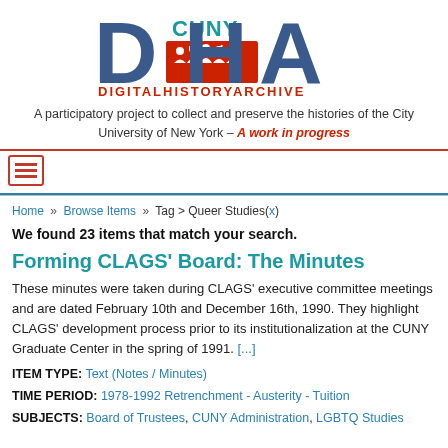[Figure (logo): CUNY Digital History Archive logo with large DHA letters, people silhouettes in red square, and CUNY text in teal]
A participatory project to collect and preserve the histories of the City University of New York – A work in progress
[Figure (infographic): Menu/hamburger icon with red border]
Home » Browse Items » Tag > Queer Studies(x)
We found 23 items that match your search.
Forming CLAGS' Board: The Minutes
These minutes were taken during CLAGS' executive committee meetings and are dated February 10th and December 16th, 1990. They highlight CLAGS' development process prior to its institutionalization at the CUNY Graduate Center in the spring of 1991. [...]
ITEM TYPE: Text (Notes / Minutes)
TIME PERIOD: 1978-1992 Retrenchment - Austerity - Tuition
SUBJECTS: Board of Trustees, CUNY Administration, LGBTQ Studies